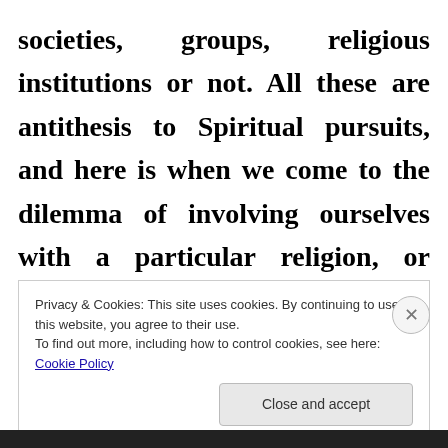societies, groups, religious institutions or not. All these are antithesis to Spiritual pursuits, and here is when we come to the dilemma of involving ourselves with a particular religion, or spiritual fringe group, and get bogged down in our
Privacy & Cookies: This site uses cookies. By continuing to use this website, you agree to their use.
To find out more, including how to control cookies, see here: Cookie Policy
Close and accept